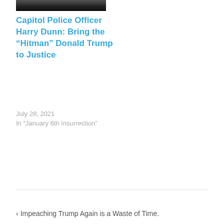[Figure (photo): Cropped photo of a person, partially visible at the top of the page]
Capitol Police Officer Harry Dunn: Bring the “Hitman” Donald Trump to Justice
July 28, 2021
In “January 6th Insurrection”
‹ Impeaching Trump Again is a Waste of Time.